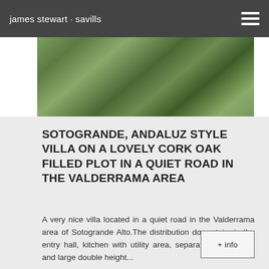james stewart · savills
[Figure (photo): Aerial or ground-level photo of cork oak trees and green landscape at Sotogrande property]
SOTOGRANDE, ANDALUZ STYLE VILLA ON A LOVELY CORK OAK FILLED PLOT IN A QUIET ROAD IN THE VALDERRAMA AREA
A very nice villa located in a quiet road in the Valderrama area of Sotogrande Alto.The distribution downstairs is the entry hall, kitchen with utility area, separate dining room and large double height...
850.000 €
4 bedrooms · 4 bathrooms
+ info